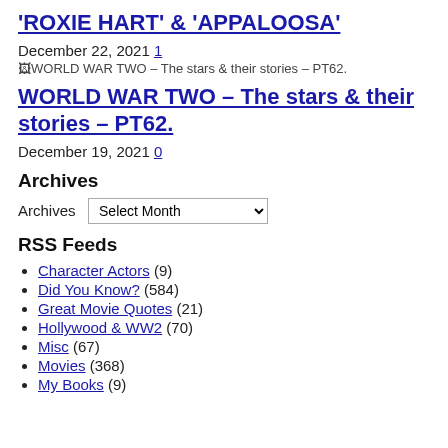'ROXIE HART' & 'APPALOOSA'
December 22, 2021 1
[image] WORLD WAR TWO – The stars & their stories – PT62.
WORLD WAR TWO – The stars & their stories – PT62.
December 19, 2021 0
Archives
Archives [Select Month dropdown]
RSS Feeds
Character Actors (9)
Did You Know? (584)
Great Movie Quotes (21)
Hollywood & WW2 (70)
Misc (67)
Movies (368)
My Books (9)